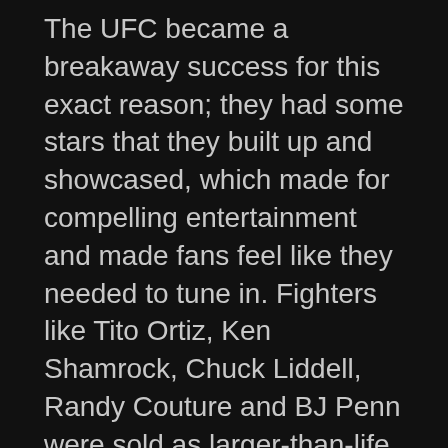The UFC became a breakaway success for this exact reason; they had some stars that they built up and showcased, which made for compelling entertainment and made fans feel like they needed to tune in. Fighters like Tito Ortiz, Ken Shamrock, Chuck Liddell, Randy Couture and BJ Penn were sold as larger-than-life heroes, modern day gladiators that were risking life and limb by stepping into the cage to fight. Then, as is prone to happen in sports, they all began to age and one by one they either fell off into obscurity or retired, leaving the UFC to build up new champions and draws.
Like an act of god, former WWE Champion Brock Lesnar fell into their